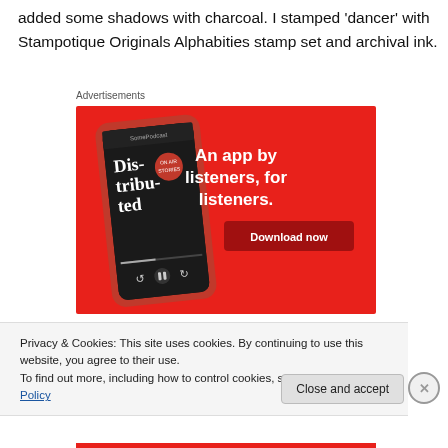added some shadows with charcoal. I stamped 'dancer' with Stampotique Originals Alphabities stamp set and archival ink.
Advertisements
[Figure (screenshot): Red advertisement banner for a podcast app showing a smartphone with 'Dis-tri-buted' podcast, with text 'An app by listeners, for listeners.' and a 'Download now' button.]
Privacy & Cookies: This site uses cookies. By continuing to use this website, you agree to their use.
To find out more, including how to control cookies, see here: Cookie Policy